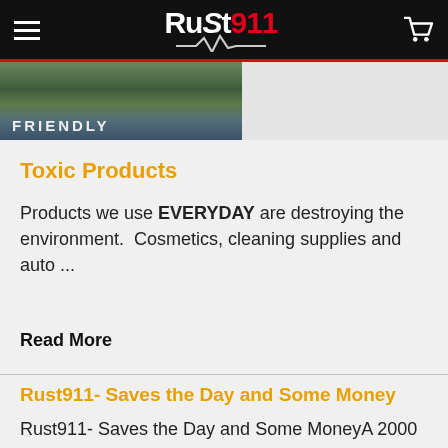Rust911 (navigation header with logo, hamburger menu, and cart icon)
[Figure (photo): Partial cropped photo of a lakeside or outdoor scene with green trees and water reflection, with partial text overlay]
Toxic Products
Products we use EVERYDAY are destroying the environment.  Cosmetics, cleaning supplies and auto ...
Read More
Rust911- Saves the Day and Some Money
Rust911- Saves the Day and Some MoneyA 2000 Honda Accord had a hood latch that did not work. &